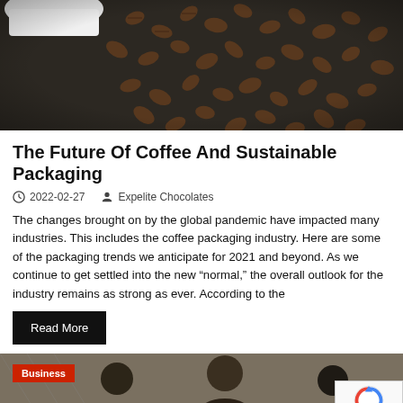[Figure (photo): Photo of coffee beans spilled from a white cup on a dark surface, viewed from above]
The Future Of Coffee And Sustainable Packaging
2022-02-27   Expelite Chocolates
The changes brought on by the global pandemic have impacted many industries. This includes the coffee packaging industry. Here are some of the packaging trends we anticipate for 2021 and beyond. As we continue to get settled into the new “normal,” the overall outlook for the industry remains as strong as ever. According to the
Read More
[Figure (photo): Photo of a group of people (Business context), with a red Business badge overlay and reCAPTCHA widget in corner]